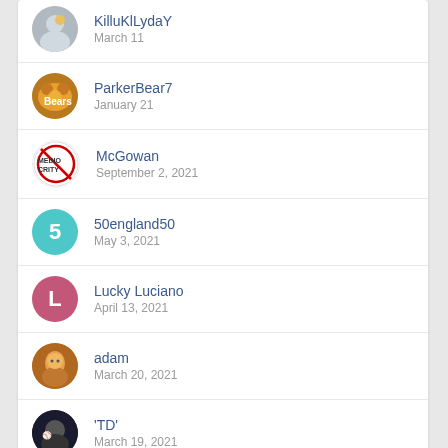KilluKlLydaY — March 11
ParkerBear7 — January 21
McGowan — September 2, 2021
50england50 — May 3, 2021
Lucky Luciano — April 13, 2021
adam — March 20, 2021
'TD' — March 19, 2021
ASHKUM BEAR — December 25, 2020